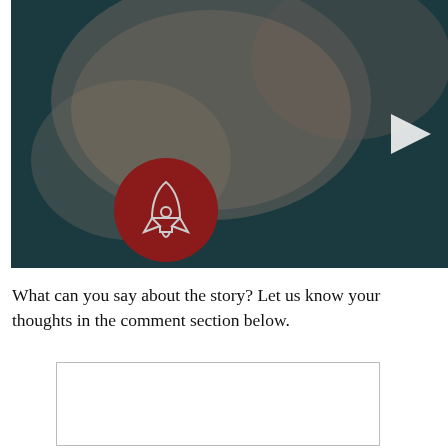[Figure (screenshot): Video thumbnail showing a close-up of a person, with a dark teal overlay. A red circular logo with a rocket icon is overlaid on the lower left. A white play button triangle is visible on the right side.]
What can you say about the story? Let us know your thoughts in the comment section below.
[Figure (other): Empty white comment input box with a light gray border]